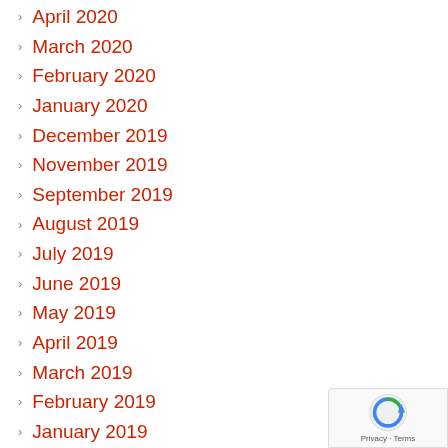April 2020
March 2020
February 2020
January 2020
December 2019
November 2019
September 2019
August 2019
July 2019
June 2019
May 2019
April 2019
March 2019
February 2019
January 2019
December 2018
November 2018
October 2018
September 2018
July 2018
June 2018